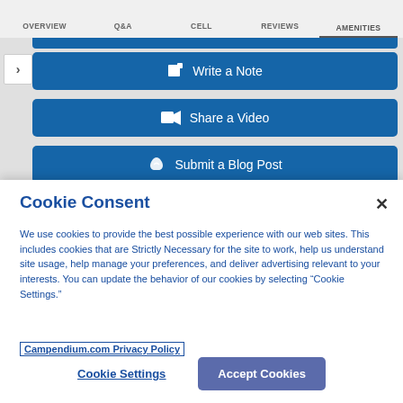OVERVIEW   Q&A   CELL   REVIEWS   AMENITIES
[Figure (screenshot): Website content area showing blue buttons: Write a Note, Share a Video, Submit a Blog Post (partially visible), with a left arrow navigation button]
Cookie Consent
We use cookies to provide the best possible experience with our web sites. This includes cookies that are Strictly Necessary for the site to work, help us understand site usage, help manage your preferences, and deliver advertising relevant to your interests. You can update the behavior of our cookies by selecting “Cookie Settings.”
Campendium.com Privacy Policy
Cookie Settings
Accept Cookies